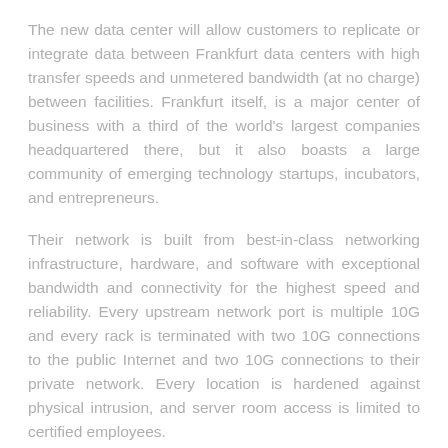The new data center will allow customers to replicate or integrate data between Frankfurt data centers with high transfer speeds and unmetered bandwidth (at no charge) between facilities. Frankfurt itself, is a major center of business with a third of the world's largest companies headquartered there, but it also boasts a large community of emerging technology startups, incubators, and entrepreneurs.
Their network is built from best-in-class networking infrastructure, hardware, and software with exceptional bandwidth and connectivity for the highest speed and reliability. Every upstream network port is multiple 10G and every rack is terminated with two 10G connections to the public Internet and two 10G connections to their private network. Every location is hardened against physical intrusion, and server room access is limited to certified employees.
All of HostForLIFE.eu controls (inside and outside the data